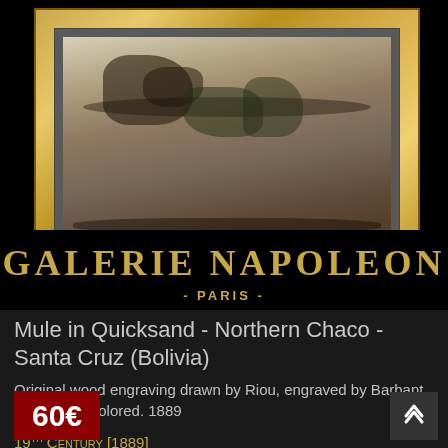[Figure (photo): Framed artwork in an ornate gold frame showing a mule in quicksand scene, displayed against black background. Below the frame, the gallery name 'GALERIE NAPOLEON' and '- PARIS -' are shown in gold text on black.]
Mule in Quicksand - Northern Chaco - Santa Cruz (Bolivia)
Original wood engraving drawn by Riou, engraved by Barbant. Hand watercolored. 1889
19TH CENTURY [1889]
60€